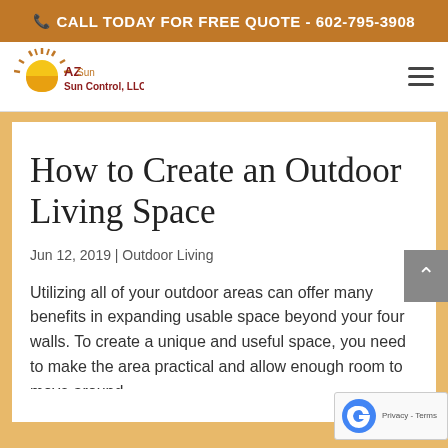📞 CALL TODAY FOR FREE QUOTE - 602-795-3908
[Figure (logo): AZ Sun Control, LLC logo with sun graphic]
How to Create an Outdoor Living Space
Jun 12, 2019 | Outdoor Living
Utilizing all of your outdoor areas can offer many benefits in expanding usable space beyond your four walls. To create a unique and useful space, you need to make the area practical and allow enough room to move around